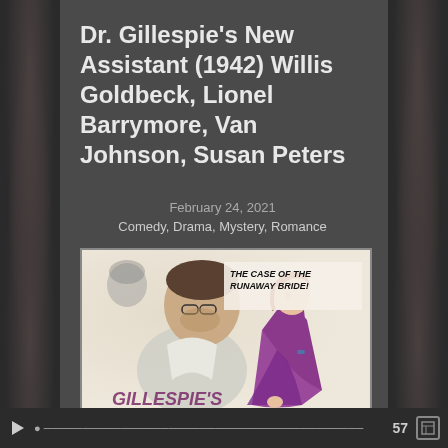Dr. Gillespie's New Assistant (1942) Willis Goldbeck, Lionel Barrymore, Van Johnson, Susan Peters
February 24, 2021
Comedy, Drama, Mystery, Romance
[Figure (illustration): Vintage movie poster for Dr. Gillespie's New Assistant showing text 'THE CASE OF THE RUNAWAY BRIDE!' with two figures — a man with glasses in white and a woman in a purple dress — and partial text 'GILLESPIE'S' at the bottom.]
57